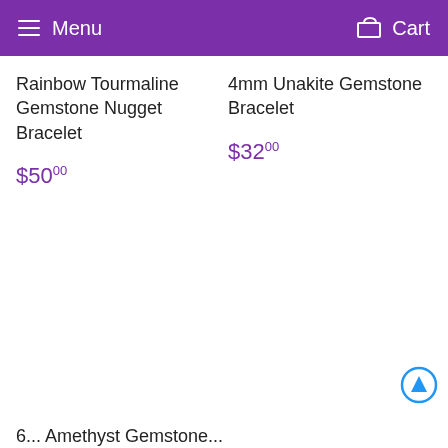Menu  Cart
Rainbow Tourmaline Gemstone Nugget Bracelet
$50.00
4mm Unakite Gemstone Bracelet
$32.00
6... Amethyst Gemstone...